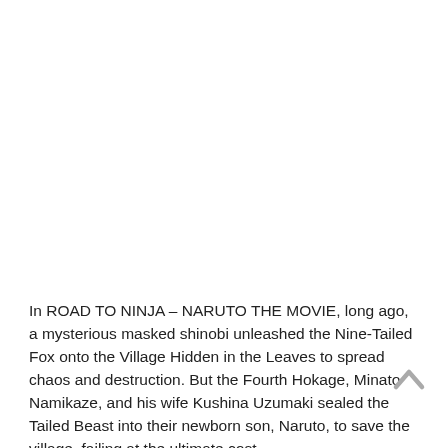In ROAD TO NINJA – NARUTO THE MOVIE, long ago, a mysterious masked shinobi unleashed the Nine-Tailed Fox onto the Village Hidden in the Leaves to spread chaos and destruction. But the Fourth Hokage, Minato Namikaze, and his wife Kushina Uzumaki sealed the Tailed Beast into their newborn son, Naruto, to save the village, failing at the ultimate cost...
[Figure (other): Scroll-to-top arrow icon (upward chevron) in grey, positioned at bottom right]